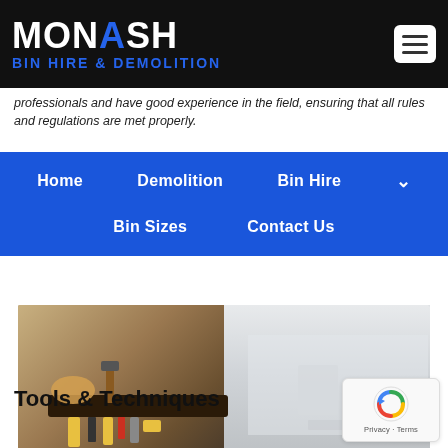MONASH BIN HIRE & DEMOLITION
professionals and have good experience in the field, ensuring that all rules and regulations are met properly.
Home
Demolition
Bin Hire
Bin Sizes
Contact Us
[Figure (photo): Worker with tool belt and tools, construction/demolition professional in indoor setting]
Tools & Techniques